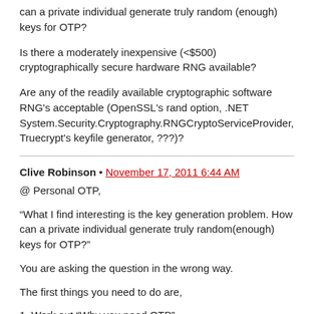can a private individual generate truly random (enough) keys for OTP?
Is there a moderately inexpensive (<$500) cryptographically secure hardware RNG available?
Are any of the readily available cryptographic software RNG's acceptable (OpenSSL's rand option, .NET System.Security.Cryptography.RNGCryptoServiceProvider, Truecrypt's keyfile generator, ???)?
Clive Robinson • November 17, 2011 6:44 AM
@ Personal OTP,
“What I find interesting is the key generation problem. How can a private individual generate truly random(enough) keys for OTP?”
You are asking the question in the wrong way.
The first things you need to do are,
1, Work out “Why you need OTP”,